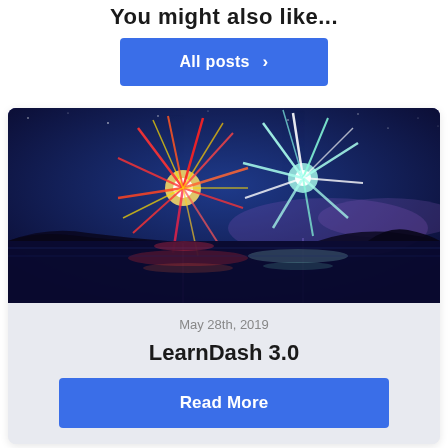You might also like...
All posts >
[Figure (photo): Fireworks display over a lake at night with colorful bursts of red, white, and teal fireworks reflected in the water against a deep blue night sky.]
May 28th, 2019
LearnDash 3.0
Read More